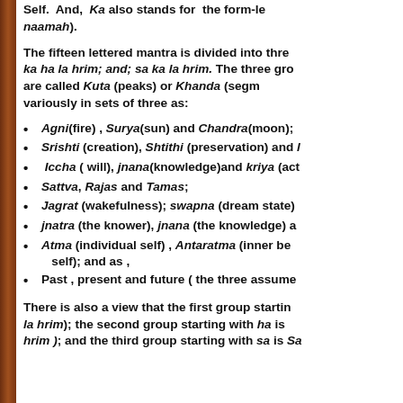Self. And, Ka also stands for the form-le naamah).
The fifteen lettered mantra is divided into thre ka ha la hrim; and; sa ka la hrim. The three gro are called Kuta (peaks) or Khanda (segm variously in sets of three as:
Agni(fire) , Surya(sun) and Chandra(moon);
Srishti (creation), Shtithi (preservation) and l
Iccha ( will), jnana(knowledge)and kriya (act
Sattva, Rajas and Tamas;
Jagrat (wakefulness); swapna (dream state)
jnatra (the knower), jnana (the knowledge) a
Atma (individual self) , Antaratma (inner be self); and as ,
Past , present and future ( the three assume
There is also a view that the first group startin la hrim); the second group starting with ha is hrim ); and the third group starting with sa is Sa